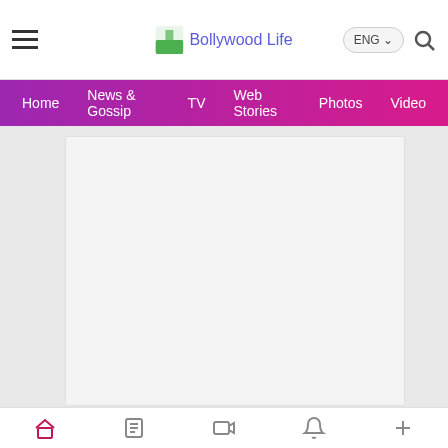Bollywood Life
[Figure (screenshot): Navigation bar with menu items: Home, News & Gossip, TV, Web Stories, Photos, Video]
[Figure (other): Large advertisement placeholder block (white/light gray rectangle)]
[Figure (other): Social share icons row: WhatsApp (green), Facebook (blue), Twitter (blue), and Facebook Messenger badge on right]
[Figure (other): Bottom advertisement placeholder block (light gray rectangle)]